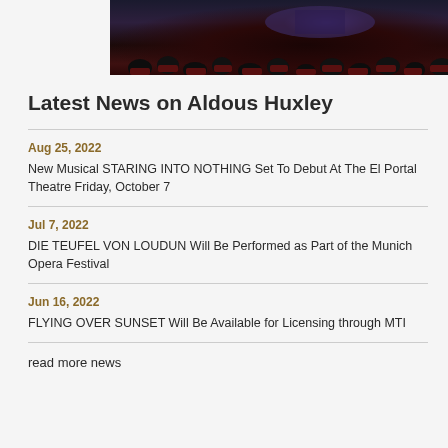[Figure (photo): Dark theatre interior showing audience seating area with a faint illuminated screen or stage in the background, red and dark tones]
Latest News on Aldous Huxley
Aug 25, 2022
New Musical STARING INTO NOTHING Set To Debut At The El Portal Theatre Friday, October 7
Jul 7, 2022
DIE TEUFEL VON LOUDUN Will Be Performed as Part of the Munich Opera Festival
Jun 16, 2022
FLYING OVER SUNSET Will Be Available for Licensing through MTI
read more news